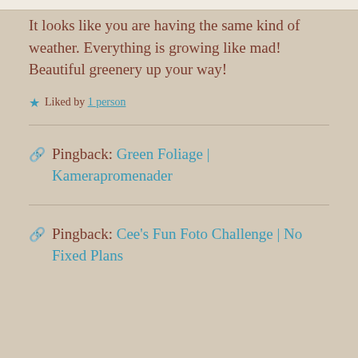It looks like you are having the same kind of weather. Everything is growing like mad! Beautiful greenery up your way!
★ Liked by 1 person
Pingback: Green Foliage | Kamerapromenader
Pingback: Cee's Fun Foto Challenge | No Fixed Plans